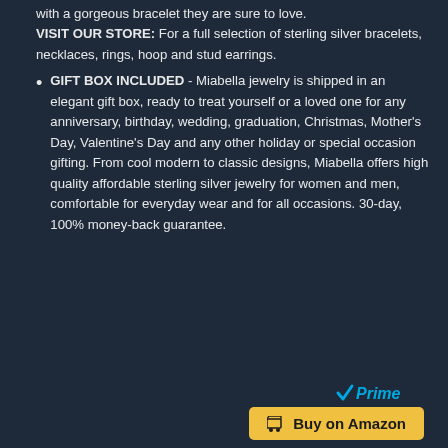with a gorgeous bracelet they are sure to love. VISIT OUR STORE: For a full selection of sterling silver bracelets, necklaces, rings, hoop and stud earrings.
GIFT BOX INCLUDED - Miabella jewelry is shipped in an elegant gift box, ready to treat yourself or a loved one for any anniversary, birthday, wedding, graduation, Christmas, Mother's Day, Valentine's Day and any other holiday or special occasion gifting. From cool modern to classic designs, Miabella offers high quality affordable sterling silver jewelry for women and men, comfortable for everyday wear and for all occasions. 30-day, 100% money-back guarantee.
[Figure (logo): Amazon Prime logo with blue checkmark and 'Prime' text in italic]
[Figure (other): Yellow 'Buy on Amazon' button with shopping cart icon]